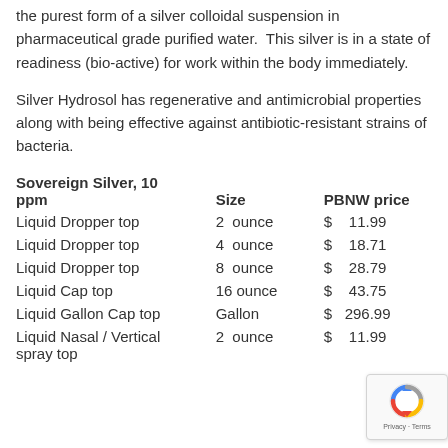the purest form of a silver colloidal suspension in pharmaceutical grade purified water.  This silver is in a state of readiness (bio-active) for work within the body immediately.
Silver Hydrosol has regenerative and antimicrobial properties along with being effective against antibiotic-resistant strains of bacteria.
| Sovereign Silver, 10 ppm | Size | PBNW price |
| --- | --- | --- |
| Liquid Dropper top | 2  ounce | $  11.99 |
| Liquid Dropper top | 4  ounce | $  18.71 |
| Liquid Dropper top | 8  ounce | $  28.79 |
| Liquid Cap top | 16 ounce | $  43.75 |
| Liquid Gallon Cap top | Gallon | $  296.99 |
| Liquid Nasal / Vertical spray top | 2  ounce | $  11.99 |